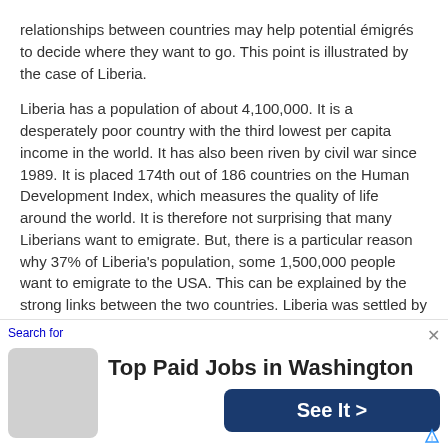relationships between countries may help potential émigrés to decide where they want to go. This point is illustrated by the case of Liberia.
Liberia has a population of about 4,100,000. It is a desperately poor country with the third lowest per capita income in the world. It has also been riven by civil war since 1989. It is placed 174th out of 186 countries on the Human Development Index, which measures the quality of life around the world. It is therefore not surprising that many Liberians want to emigrate. But, there is a particular reason why 37% of Liberia's population, some 1,500,000 people want to emigrate to the USA. This can be explained by the strong links between the two countries. Liberia was settled by large numbers of freed slaves from the US from 1820 onwards and has been the recipient of a great deal of US aid since the Second World W...
[Figure (screenshot): Advertisement banner: 'Search for' label in blue, close X button, icon placeholder box, headline 'Top Paid Jobs in Washington', dark blue 'See It >' button, and AdChoices triangle icon.]